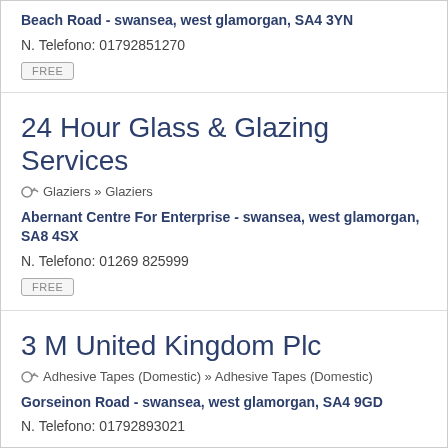Beach Road - swansea, west glamorgan, SA4 3YN
N. Telefono: 01792851270
FREE
24 Hour Glass & Glazing Services
Glaziers » Glaziers
Abernant Centre For Enterprise - swansea, west glamorgan, SA8 4SX
N. Telefono: 01269 825999
FREE
3 M United Kingdom Plc
Adhesive Tapes (Domestic) » Adhesive Tapes (Domestic)
Gorseinon Road - swansea, west glamorgan, SA4 9GD
N. Telefono: 01792893021